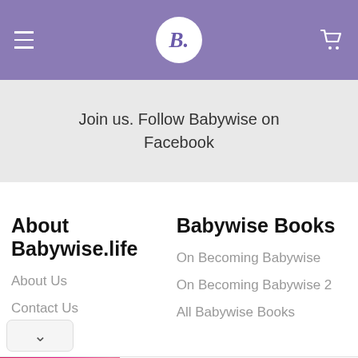B. (Babywise logo header with menu and cart)
Join us. Follow Babywise on Facebook
About Babywise.life
About Us
Contact Us
Babywise Books
On Becoming Babywise
On Becoming Babywise 2
All Babywise Books
[Figure (other): Advertisement banner: Babsy Baby singing Twinkle by Kaufcom GmbH with cartoon baby image and Open button]